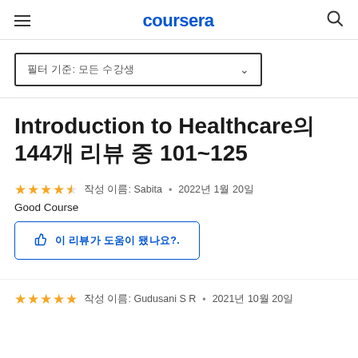coursera
필터 기준: 모든 수강생
Introduction to Healthcare의 144개 리뷰 중 101~125
작성 이름: Sabita • 2022년 1월 20일
Good Course
이 리뷰가 도움이 됐나요?.
작성 이름: Gudusani S R • 2021년 10월 20일